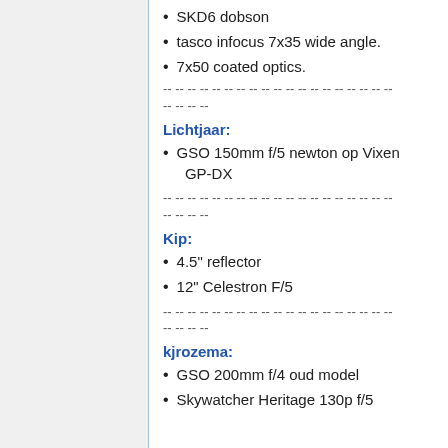SKD6 dobson
tasco infocus 7x35 wide angle.
7x50 coated optics.
-- -- -- -- -- -- -- -- -- -- -- -- -- -- -- -- -- -- -- 
-- -- -- --
Lichtjaar:
GSO 150mm f/5 newton op Vixen GP-DX
-- -- -- -- -- -- -- -- -- -- -- -- -- -- -- -- -- -- -- 
-- -- -- --
Kip:
4.5" reflector
12" Celestron F/5
-- -- -- -- -- -- -- -- -- -- -- -- -- -- -- -- -- -- -- 
-- -- -- --
kjrozema:
GSO 200mm f/4 oud model
Skywatcher Heritage 130p f/5